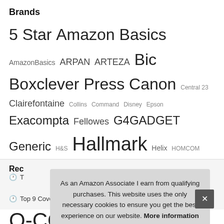Brands
5 Star Amazon Basics AmazonBasics ARPAN ARTEZA Bic Boxclever Press Canon Central 23 Clairefontaine Collins Command Disney Epson Exacompta Fellowes G4GADGET Generic H&S Hallmark Helix HOMCOM HP kuou Leitz Moleskine NA Osco Outus Paper Mate PARKER Pentel Pilot Pukka Pad Q-CONNECT Rapesco Really Useful Box Silvine STABILO STAEDTLER STORM TRADING GROUP Tiger Triplast UK Greetings Zebra
As an Amazon Associate I earn from qualifying purchases. This website uses the only necessary cookies to ensure you get the best experience on our website. More information
Rec
Top 9 Covert Cameras Hidden Wifi UK – Digital Voice Recorders